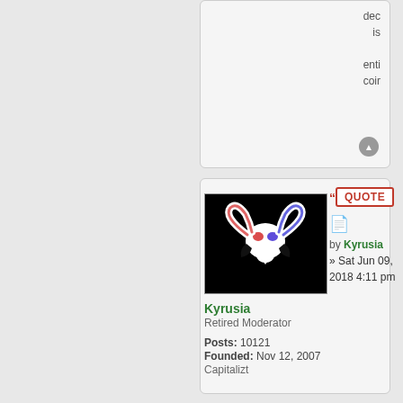dec is enti coir
[Figure (illustration): Forum reply/quote button area showing truncated previous post text]
[Figure (photo): Avatar image: white ram skull logo on black background]
Kyrusia
Retired Moderator
Posts: 10121
Founded: Nov 12, 2007
Capitalizt
QUOTE
by Kyrusia » Sat Jun 09, 2018 4:11 pm